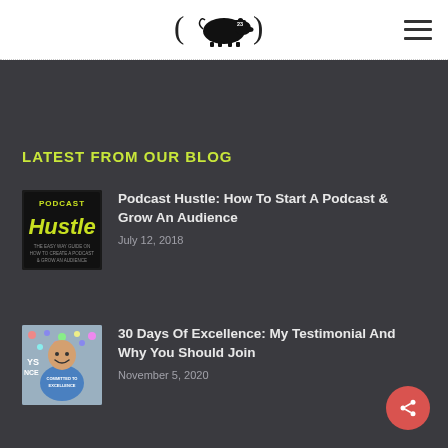Podcast Hustle blog website header with pig logo and hamburger menu
LATEST FROM OUR BLOG
[Figure (illustration): Podcast Hustle book/show cover with yellow graffiti-style 'Hustle' text on dark background]
Podcast Hustle: How To Start A Podcast & Grow An Audience
July 12, 2018
[Figure (photo): Photo of a man wearing a blue 'Committed to Excellence' t-shirt, smiling, in front of a colorful crowd background]
30 Days Of Excellence: My Testimonial And Why You Should Join
November 5, 2020